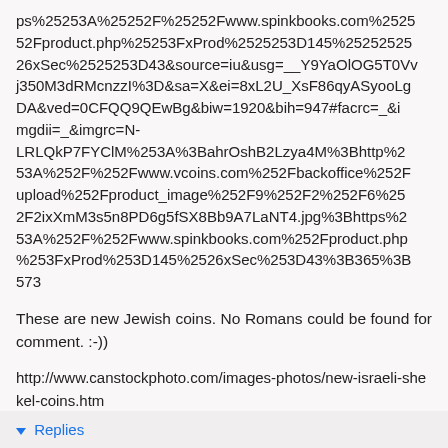ps%25253A%25252F%25252Fwww.spinkbooks.com%25252Fproduct.php%25253FxProd%2525253D145%252525 26xSec%2525253D43&source=iu&usg=__Y9YaOlOG5T0Vvj350M3dRMcnzzI%3D&sa=X&ei=8xL2U_XsF86qyASyooLgDA&ved=0CFQQ9QEwBg&biw=1920&bih=947#facrc=_&imgdii=_&imgrc=N-LRLQkP7FYClM%253A%3BahrOshB2Lzya4M%3Bhttp%253A%252F%252Fwww.vcoins.com%252Fbackoffice%252Fupload%252Fproduct_image%252F9%252F2%252F6%252F2ixXmM3s5n8PD6g5fSX8Bb9A7LaNT4.jpg%3Bhttps%253A%252F%252Fwww.spinkbooks.com%252Fproduct.php%253FxProd%253D145%2526xSec%253D43%3B365%3B573
These are new Jewish coins. No Romans could be found for comment. :-))
http://www.canstockphoto.com/images-photos/new-israeli-shekel-coins.htm
Reply
Replies